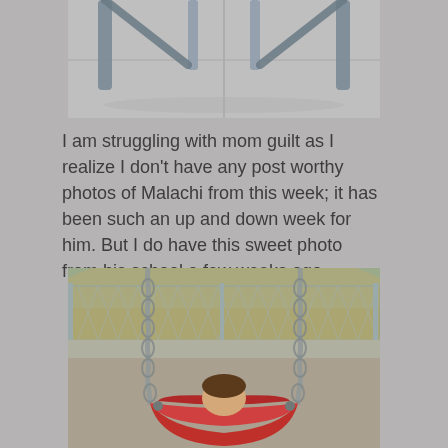[Figure (photo): Top portion of a photo showing what appears to be playground equipment legs or metal poles on a concrete/pavement surface, cropped at the bottom.]
I am struggling with mom guilt as I realize I don't have any post worthy photos of Malachi from this week; it has been such an up and down week for him. But I do have this sweet photo from his school a few weeks ago.
[Figure (photo): A child sitting in a red bucket swing at a school playground. Chain-link fence and dried grass visible in the background.]